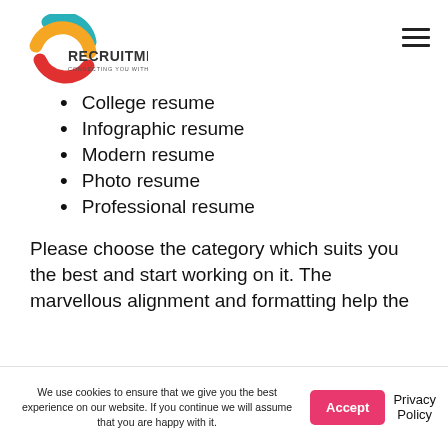[Figure (logo): 2c Recruitment logo — stylized '2c' with teal, yellow and red arcs, bold text 'RECRUITMENT' and tagline 'CONNECTING YOU WITH TALENT']
College resume
Infographic resume
Modern resume
Photo resume
Professional resume
Please choose the category which suits you the best and start working on it. The marvellous alignment and formatting help the
We use cookies to ensure that we give you the best experience on our website. If you continue we will assume that you are happy with it.
Accept
Privacy Policy